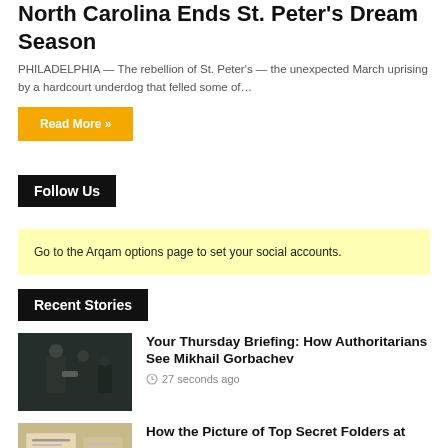North Carolina Ends St. Peter's Dream Season
PHILADELPHIA — The rebellion of St. Peter's — the unexpected March uprising by a hardcourt underdog that felled some of…
Read More »
Follow Us
Go to the Arqam options page to set your social accounts.
Recent Stories
[Figure (photo): Black and white photo of two men shaking hands in what appears to be a formal meeting]
Your Thursday Briefing: How Authoritarians See Mikhail Gorbachev
27 seconds ago
[Figure (photo): Partial view of a photo showing documents or folders on a surface]
How the Picture of Top Secret Folders at